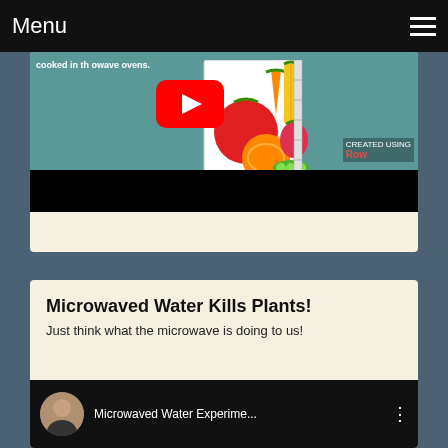Menu
[Figure (screenshot): YouTube video thumbnail showing vegetables/fruits illustration with text 'cooked in th...owave ovens.' and a YouTube play button overlay. Bottom portion has a black bar.]
Microwaved Water Kills Plants!
Just think what the microwave is doing to us!
[Figure (screenshot): YouTube video thumbnail with a man's avatar circle photo and title 'Microwaved Water Experime...' with three-dot menu icon, dark background.]